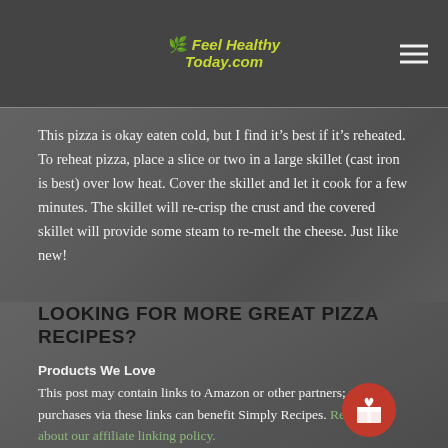Feel Healthy Today.com
This pizza is okay eaten cold, but I find it’s best if it’s reheated. To reheat pizza, place a slice or two in a large skillet (cast iron is best) over low heat. Cover the skillet and let it cook for a few minutes. The skillet will re-crisp the crust and the covered skillet will provide some steam to re-melt the cheese. Just like new!
LOOKING FOR MORE GREAT PIZZA RECIPES?
Products We Love
This post may contain links to Amazon or other partners; your purchases via these links can benefit Simply Recipes. Read more about our affiliate linking policy.